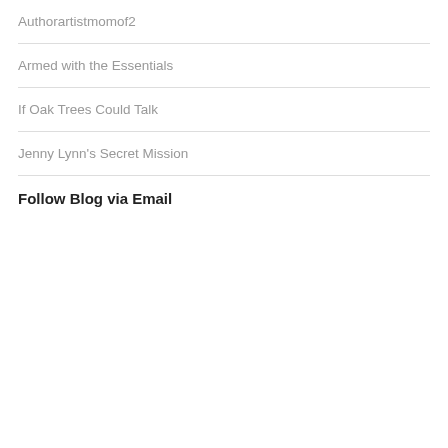Authorartistmomof2
Armed with the Essentials
If Oak Trees Could Talk
Jenny Lynn's Secret Mission
Follow Blog via Email